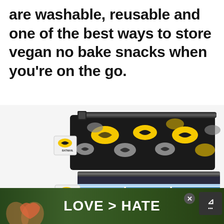are washable, reusable and one of the best ways to store vegan no bake snacks when you're on the go.
[Figure (photo): Two Batman-themed zippered snack bags - one with Batman logo pattern on black background, one with Batman comic strip WHAM KRAK action scene pattern]
[Figure (photo): Advertisement banner showing hands forming a heart shape with text 'LOVE > HATE' and a close button and mute button]